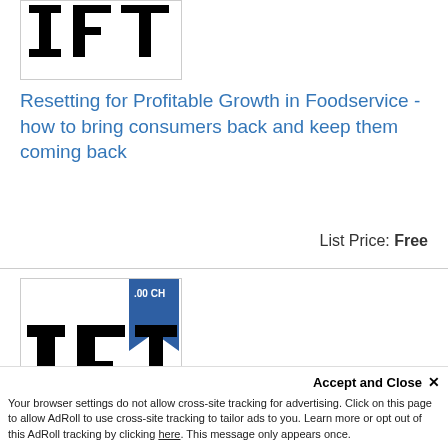[Figure (logo): IFT logo — black blocky letters I, F, T on white background with border]
Resetting for Profitable Growth in Foodservice - how to bring consumers back and keep them coming back
List Price: Free
[Figure (logo): Second IFT logo with blue bookmark badge showing '.00 CH' text]
Accept and Close ×
Your browser settings do not allow cross-site tracking for advertising. Click on this page to allow AdRoll to use cross-site tracking to tailor ads to you. Learn more or opt out of this AdRoll tracking by clicking here. This message only appears once.